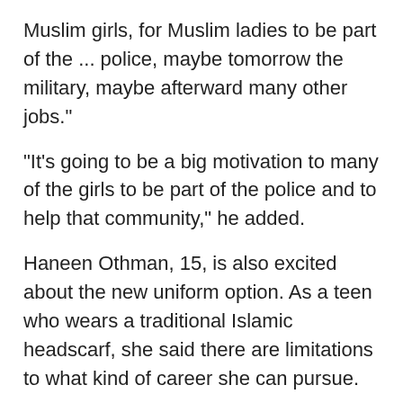Muslim girls, for Muslim ladies to be part of the ... police, maybe tomorrow the military, maybe afterward many other jobs."
“It’s going to be a big motivation to many of the girls to be part of the police and to help that community,” he added.
Haneen Othman, 15, is also excited about the new uniform option. As a teen who wears a traditional Islamic headscarf, she said there are limitations to what kind of career she can pursue.
"I feel like it’s really hard for us to follow our dreams."
But now she is excited to have the choice to work as an Edmonton police officer.